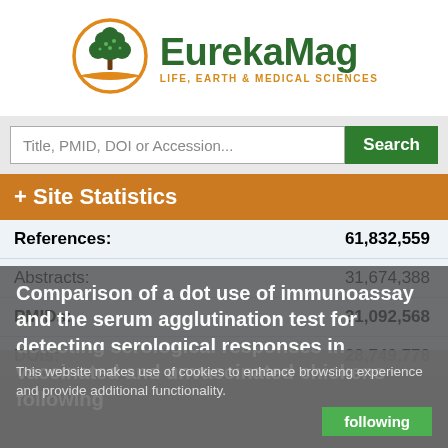[Figure (logo): EurekaMag logo: circular orange and green tree illustration with open book at base, next to bold green text 'EurekaMag' and orange subtitle 'LIFE, EARTH & MEDICAL SCIENCES']
Title, PMID, DOI or Accession...
+ Site Statistics
| References: | 61,832,559 |
| Abstracts: | 31,674,388 |
| PMIDs: | 31,092,568 |
| DOIs: | 28,749,778 |
Comparison of a dot use of immunoassay and the serum agglutination test for detecting serological responses in vaccinated and unvaccinated chickens following
This website makes use of cookies to enhance browsing experience and provide additional functionality.